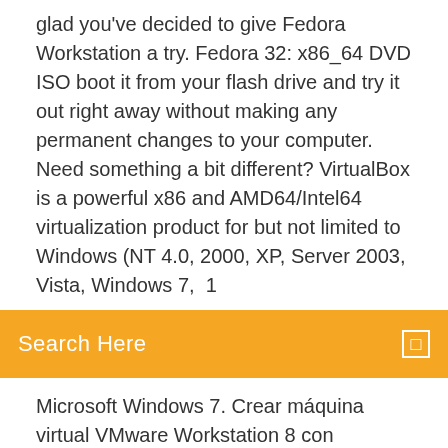glad you've decided to give Fedora Workstation a try. Fedora 32: x86_64 DVD ISO boot it from your flash drive and try it out right away without making any permanent changes to your computer. Need something a bit different? VirtualBox is a powerful x86 and AMD64/Intel64 virtualization product for but not limited to Windows (NT 4.0, 2000, XP, Server 2003, Vista, Windows 7,  1
Search Here
Microsoft Windows 7. Crear máquina virtual VMware Workstation 8 con Windows 8 Consumer Preview. de Windows 8: Windows8-ConsumerPreview-64bit-English.iso (de 3,3 GB):.
Mise a jour outlook 2003 gratuit
Flash player 10.1 for android 2.2 télécharger
How to télécharger bus mod for euro truck simulator
Star wars battlefront 2 2005 télécharger gratuit mac
Guide utilisateur virtual dj 8 francais
Need for speed most wanted pc game gratuit télécharger